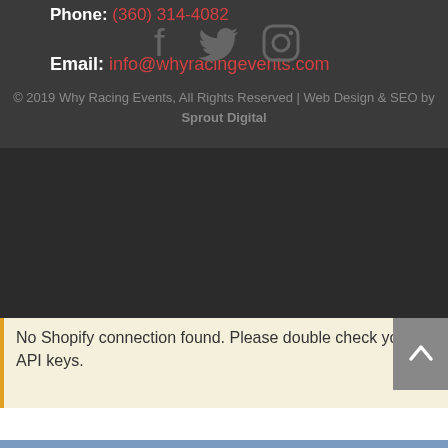Phone: (360) 314-4082
Email: info@whyracingevents.com
[Figure (infographic): Social media icons: Facebook, Twitter, Instagram]
© 2019 Why Racing Events, All Rights Reserved | Web Design & SEO by Sprout Digital
No Shopify connection found. Please double check your API keys.